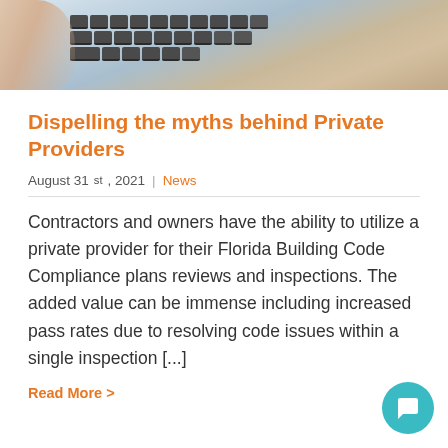[Figure (photo): Close-up photo of hands typing on a laptop keyboard]
Dispelling the myths behind Private Providers
August 31st, 2021 | News
Contractors and owners have the ability to utilize a private provider for their Florida Building Code Compliance plans reviews and inspections. The added value can be immense including increased pass rates due to resolving code issues within a single inspection [...]
Read More >